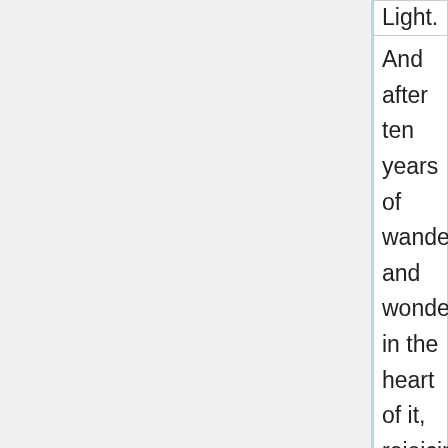| Light. |  |
| --- | --- |
| And after ten years of wandering and wondering in the heart of it, rejoicing in its glorious floods of light, the white beams of the morning streaming through the passes, the noonday radiance on the crystal rocks, the flush of the alpenglow, and the irised spray of countless waterfalls, it still | □□□□□□□□□□□□□□□□□□□□ □□□□□□□□□□□□□□□□□□□□ □□□□□□□□□□□□□□□□□□□□ □□□□□□□□□□□□□□□□□ |